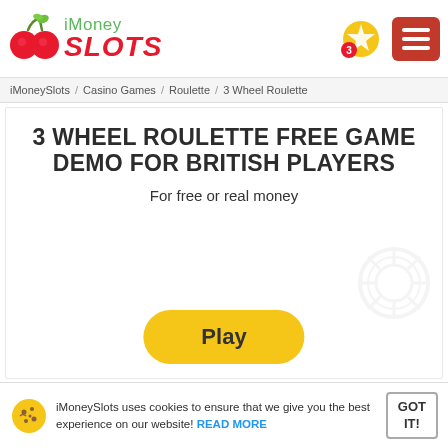iMoney SLOTS
iMoneySlots / Casino Games / Roulette / 3 Wheel Roulette
3 WHEEL ROULETTE FREE GAME DEMO FOR BRITISH PLAYERS
For free or real money
[Figure (other): Play button - yellow rounded rectangle with text 'Play']
iMoneySlots uses cookies to ensure that we give you the best experience on our website! READ MORE